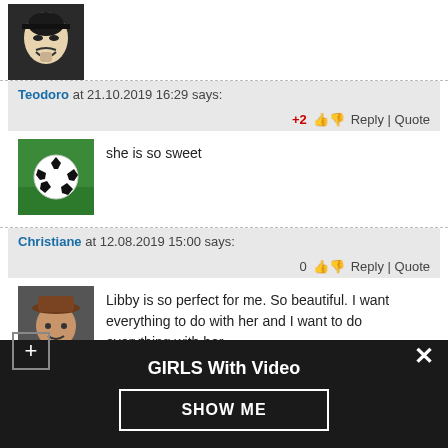[Figure (photo): Guy Fawkes mask avatar at top of page]
Teodoro at 21.10.2019 16:29 says:
+2  Reply | Quote
[Figure (photo): Soccer ball on grass - user avatar]
she is so sweet
Christiane at 12.08.2019 15:00 says:
0  Reply | Quote
[Figure (photo): Man with brown hat - user avatar]
Libby is so perfect for me. So beautiful. I want everything to do with her and I want to do everything with her.
GIRLS With Video
SHOW ME